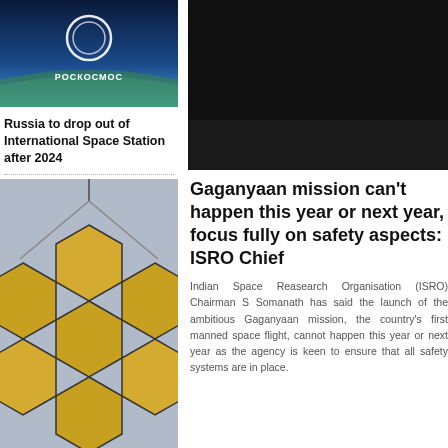[Figure (photo): Roscosmos logo and space imagery]
Russia to drop out of International Space Station after 2024
[Figure (photo): NASA James Webb Space Telescope golden mirror segments]
NASA's James Webb telescope detects water on distant planet
[Figure (photo): Dark image possibly satellite or spacecraft]
[Figure (photo): Dark background header image for Gaganyaan article]
Gaganyaan mission can't happen this year or next year, focus fully on safety aspects: ISRO Chief
Indian Space Reasearch Organisation (ISRO) Chairman S Somanath has said the launch of the ambitious Gaganyaan mission, the country's first manned space flight, cannot happen this year or next year as the agency is keen to ensure that all safety systems are in place.